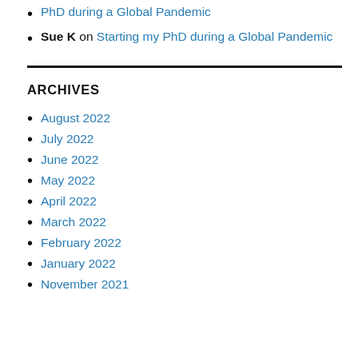PhD during a Global Pandemic (partial link at top)
Sue K on Starting my PhD during a Global Pandemic
ARCHIVES
August 2022
July 2022
June 2022
May 2022
April 2022
March 2022
February 2022
January 2022
November 2021